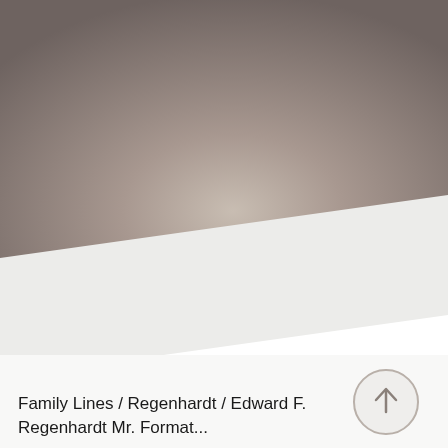[Figure (photo): A warm gray-brown gradient background photograph, possibly a blurred interior or sky, with a lighter glow in the center-lower area. A white angled shelf or surface cuts diagonally across the lower portion of the image.]
[Figure (illustration): A circular up-arrow button with a thin gray border on a light background, positioned at the lower right of the page.]
Family Lines / Regenhardt / Edward F. Regenhardt Mr. Format...